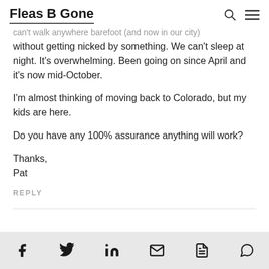Fleas B Gone
can't walk anywhere barefoot (and now in our city) without getting nicked by something. We can't sleep at night. It's overwhelming. Been going on since April and it's now mid-October.
I'm almost thinking of moving back to Colorado, but my kids are here.
Do you have any 100% assurance anything will work?
Thanks,
Pat
REPLY
Social sharing icons: Facebook, Twitter, LinkedIn, Email, PDF, WhatsApp